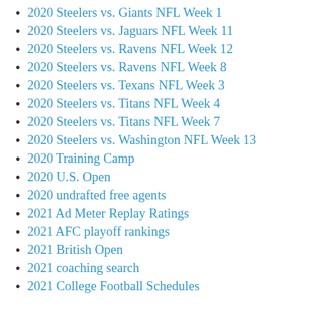2020 Steelers vs. Giants NFL Week 1
2020 Steelers vs. Jaguars NFL Week 11
2020 Steelers vs. Ravens NFL Week 12
2020 Steelers vs. Ravens NFL Week 8
2020 Steelers vs. Texans NFL Week 3
2020 Steelers vs. Titans NFL Week 4
2020 Steelers vs. Titans NFL Week 7
2020 Steelers vs. Washington NFL Week 13
2020 Training Camp
2020 U.S. Open
2020 undrafted free agents
2021 Ad Meter Replay Ratings
2021 AFC playoff rankings
2021 British Open
2021 coaching search
2021 College Football Schedules